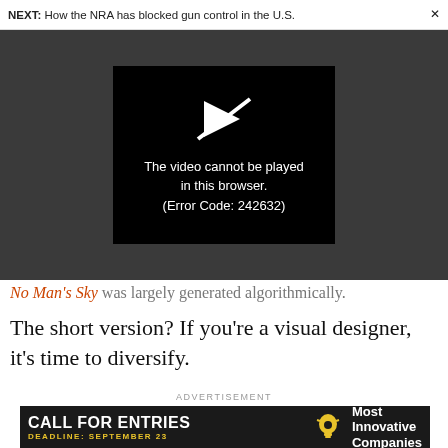NEXT: How the NRA has blocked gun control in the U.S.
[Figure (screenshot): Video player error screen. Black box with a crossed-out play button icon and text: 'The video cannot be played in this browser. (Error Code: 242632)']
No Man's Sky was largely generated algorithmically.
The short version? If you're a visual designer, it's time to diversify.
ADVERTISEMENT
[Figure (infographic): Advertisement banner: 'CALL FOR ENTRIES DEADLINE: SEPTEMBER 23' with a lightbulb icon and text 'Most Innovative Companies']